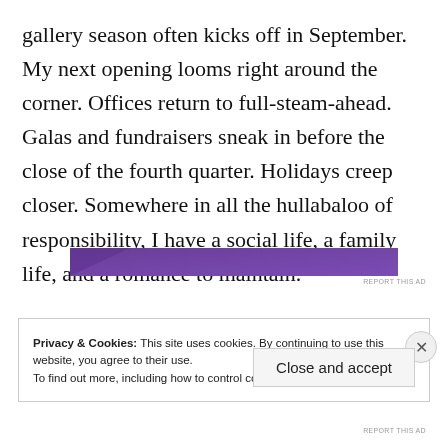gallery season often kicks off in September. My next opening looms right around the corner. Offices return to full-steam-ahead. Galas and fundraisers sneak in before the close of the fourth quarter. Holidays creep closer. Somewhere in all the hullabaloo of responsibility, I have a social life, a family life, and a romance to maintain.
[Figure (other): Purple/violet colored advertisement banner]
REPORT THIS AD
Privacy & Cookies: This site uses cookies. By continuing to use this website, you agree to their use.
To find out more, including how to control cookies, see here: Cookie Policy
Close and accept